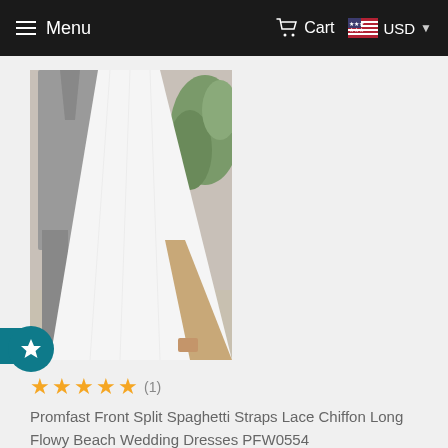Menu   Cart   USD
[Figure (photo): A couple walking together — man in gray suit and woman in white long chiffon wedding dress with front slit, holding hands outdoors with greenery in background.]
★★★★★ (1)
Promfast Front Split Spaghetti Straps Lace Chiffon Long Flowy Beach Wedding Dresses PFW0554
$186.00 USD